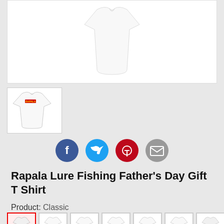[Figure (photo): Main product image: white plain t-shirt on white background]
[Figure (photo): Thumbnail: white t-shirt with Rapala logo on chest]
[Figure (infographic): Social share icons: Facebook, Twitter, Pinterest, Email]
Rapala Lure Fishing Father's Day Gift T Shirt
Product: Classic
[Figure (photo): Row of t-shirt variant thumbnails in different styles/colors]